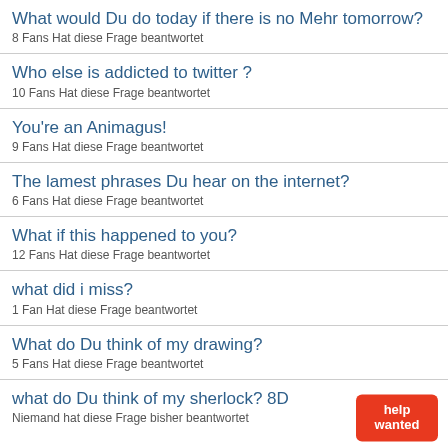What would Du do today if there is no Mehr tomorrow?
8 Fans Hat diese Frage beantwortet
Who else is addicted to twitter ?
10 Fans Hat diese Frage beantwortet
You're an Animagus!
9 Fans Hat diese Frage beantwortet
The lamest phrases Du hear on the internet?
6 Fans Hat diese Frage beantwortet
What if this happened to you?
12 Fans Hat diese Frage beantwortet
what did i miss?
1 Fan Hat diese Frage beantwortet
What do Du think of my drawing?
5 Fans Hat diese Frage beantwortet
what do Du think of my sherlock? 8D
Niemand hat diese Frage bisher beantwortet
If Du could created a word what would it be and what will it mean?
3 Fans Hat diese Frage beantwortet